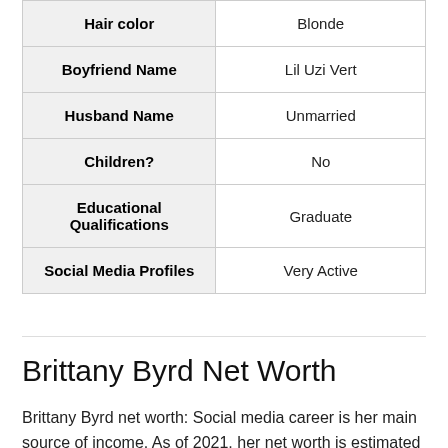| Attribute | Value |
| --- | --- |
| Hair color | Blonde |
| Boyfriend Name | Lil Uzi Vert |
| Husband Name | Unmarried |
| Children? | No |
| Educational Qualifications | Graduate |
| Social Media Profiles | Very Active |
Brittany Byrd Net Worth
Brittany Byrd net worth: Social media career is her main source of income. As of 2021, her net worth is estimated to be $900,000